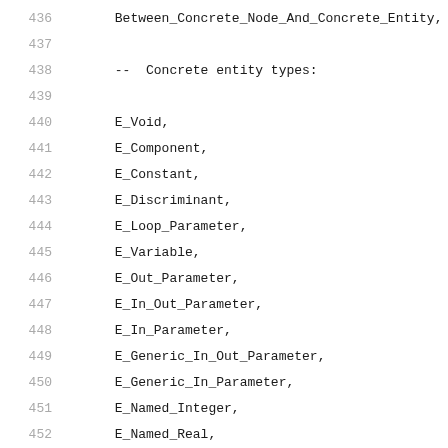436     Between_Concrete_Node_And_Concrete_Entity,
437
438     --  Concrete entity types:
439
440     E_Void,
441     E_Component,
442     E_Constant,
443     E_Discriminant,
444     E_Loop_Parameter,
445     E_Variable,
446     E_Out_Parameter,
447     E_In_Out_Parameter,
448     E_In_Parameter,
449     E_Generic_In_Out_Parameter,
450     E_Generic_In_Parameter,
451     E_Named_Integer,
452     E_Named_Real,
453     E_Enumeration_Type,
454     E_Enumeration_Subtype,
455     E_Signed_Integer_Type,
456     E_Signed_Integer_Subtype,